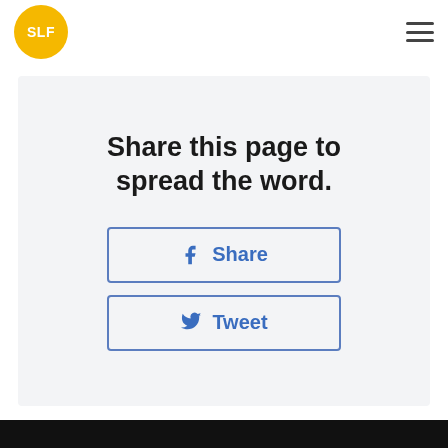[Figure (logo): SLF logo: yellow circle with white bold text 'SLF']
[Figure (illustration): Hamburger menu icon (three horizontal lines)]
Share this page to spread the word.
Share
Tweet